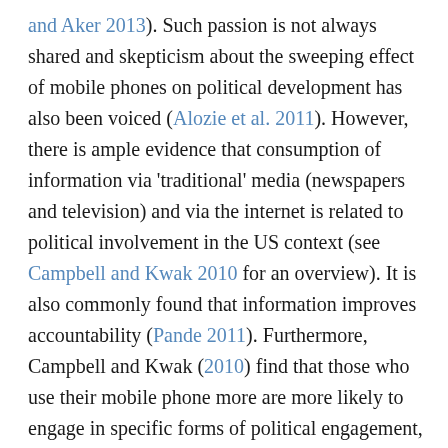and Aker 2013). Such passion is not always shared and skepticism about the sweeping effect of mobile phones on political development has also been voiced (Alozie et al. 2011). However, there is ample evidence that consumption of information via 'traditional' media (newspapers and television) and via the internet is related to political involvement in the US context (see Campbell and Kwak 2010 for an overview). It is also commonly found that information improves accountability (Pande 2011). Furthermore, Campbell and Kwak (2010) find that those who use their mobile phone more are more likely to engage in specific forms of political engagement, including contacting a public official or a political party, in the context of the US.